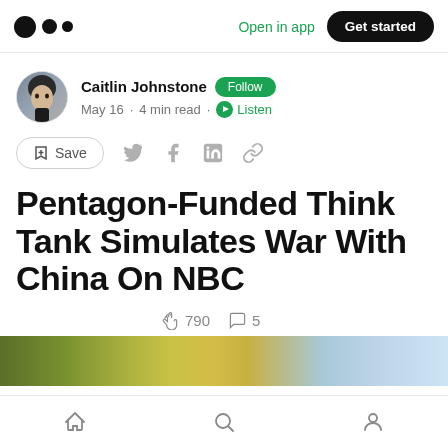Medium app header with logo, Open in app, Get started
Caitlin Johnstone · Follow · May 16 · 4 min read · Listen
Save (social share icons: Twitter, Facebook, LinkedIn, Link)
Pentagon-Funded Think Tank Simulates War With China On NBC
790 claps · 5 comments
[Figure (photo): Partial bottom image strip showing a colorful scene, partially visible]
Bottom navigation bar with Home, Search, and Profile icons